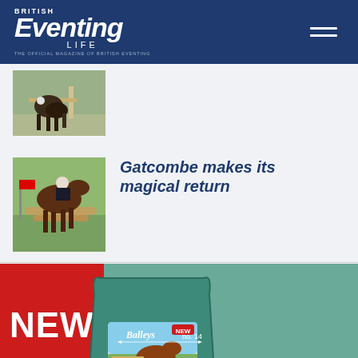[Figure (logo): British Eventing Life magazine logo - white text on navy blue header with hamburger menu icon]
[Figure (photo): Partial photo of horse and rider at an eventing cross-country fence, top portion cropped]
[Figure (photo): Photo of horse and rider jumping a large log fence on a cross-country course at Gatcombe]
Gatcombe makes its magical return
[Figure (illustration): Balleys No. 14 Ease & Excel Cubes horse feed bag advertisement with NEW label, teal background, and red NEW corner banner]